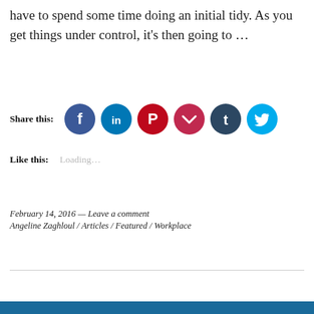have to spend some time doing an initial tidy. As you get things under control, it's then going to …
[Figure (infographic): Share this: row of six social media icon circles — Facebook (blue), LinkedIn (dark blue), Pinterest (red), Pocket (dark red), Tumblr (dark navy), Twitter (cyan)]
Like this: Loading...
February 14, 2016 — Leave a comment
Angeline Zaghloul / Articles / Featured / Workplace